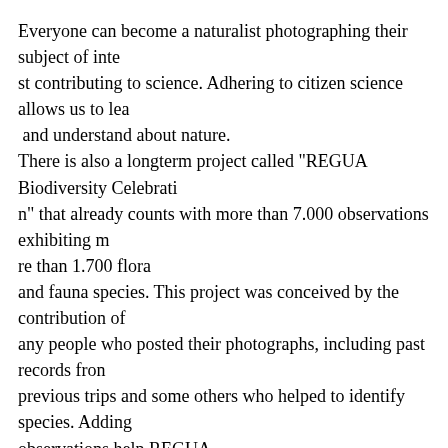Everyone can become a naturalist photographing their subject of interest contributing to science. Adhering to citizen science allows us to lea and understand about nature. There is also a longterm project called "REGUA Biodiversity Celebration" that already counts with more than 7.000 observations exhibiting more than 1.700 flora and fauna species. This project was conceived by the contribution of any people who posted their photographs, including past records from previous trips and some others who helped to identify species. Adding observations help REGUA acknowledge which species are present within its territory. It's worth considering the following tips:
Every picture is relevant. You don't have to be a brilliant photographer; on the contrary, in some cases the system learns more from low resolution images);
You don't have to be a specialist to post observations. You can upload pictures of ordinary, day to day species. Just inform the system which is the taxonomic group you are referring o;